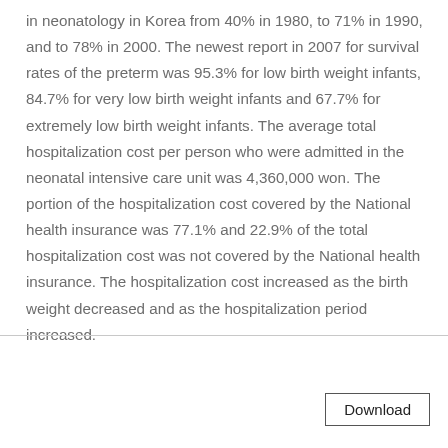in neonatology in Korea from 40% in 1980, to 71% in 1990, and to 78% in 2000. The newest report in 2007 for survival rates of the preterm was 95.3% for low birth weight infants, 84.7% for very low birth weight infants and 67.7% for extremely low birth weight infants. The average total hospitalization cost per person who were admitted in the neonatal intensive care unit was 4,360,000 won. The portion of the hospitalization cost covered by the National health insurance was 77.1% and 22.9% of the total hospitalization cost was not covered by the National health insurance. The hospitalization cost increased as the birth weight decreased and as the hospitalization period increased.
Download